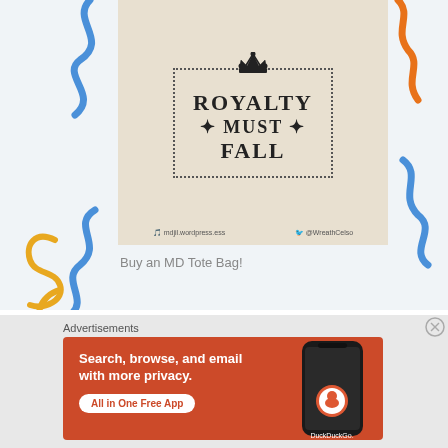[Figure (illustration): Decorative squiggly lines on left side in blue, orange/yellow colors]
[Figure (photo): Tote bag with text ROYALTY MUST FALL inside a dotted border with a crown illustration, on beige/cream background]
Buy an MD Tote Bag!
[Figure (illustration): Decorative squiggly lines on right side in orange and blue colors]
Advertisements
[Figure (screenshot): DuckDuckGo advertisement banner on orange background. Text: Search, browse, and email with more privacy. All in One Free App. Shows DuckDuckGo logo and a phone mockup.]